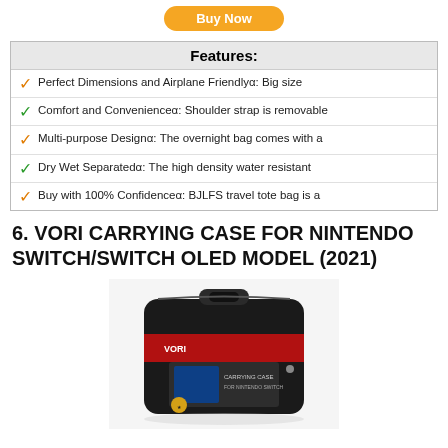[Figure (other): Orange 'Buy Now' button at top of page]
Features:
✓ Perfect Dimensions and Airplane Friendlyα: Big size
✓ Comfort and Convenienceα: Shoulder strap is removable
✓ Multi-purpose Designα: The overnight bag comes with a
✓ Dry Wet Separatedα: The high density water resistant
✓ Buy with 100% Confidenceα: BJLFS travel tote bag is a
6. VORI CARRYING CASE FOR NINTENDO SWITCH/SWITCH OLED MODEL (2021)
[Figure (photo): Photo of VORI carrying case for Nintendo Switch product in packaging, showing a black hard shell case with handle]